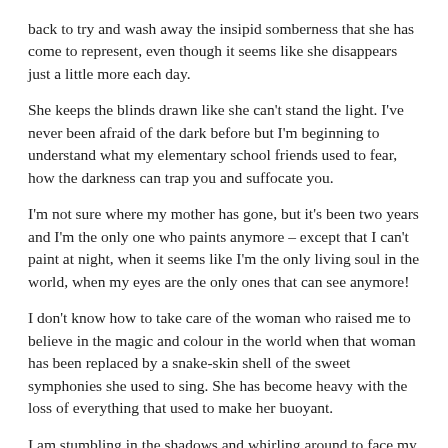back to try and wash away the insipid somberness that she has come to represent, even though it seems like she disappears just a little more each day.
She keeps the blinds drawn like she can't stand the light. I've never been afraid of the dark before but I'm beginning to understand what my elementary school friends used to fear, how the darkness can trap you and suffocate you.
I'm not sure where my mother has gone, but it's been two years and I'm the only one who paints anymore – except that I can't paint at night, when it seems like I'm the only living soul in the world, when my eyes are the only ones that can see anymore!
I don't know how to take care of the woman who raised me to believe in the magic and colour in the world when that woman has been replaced by a snake-skin shell of the sweet symphonies she used to sing. She has become heavy with the loss of everything that used to make her buoyant.
I am stumbling in the shadows and whirling around to face my mother in the hopes that she can reignite the passions that used to inspire me. But every time I turn to see the dwindling life